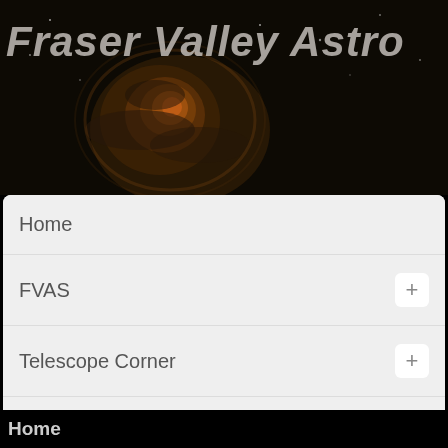Fraser Valley Astro
Home
FVAS
Telescope Corner
Weather
Star Parties
Light Pollution
Home